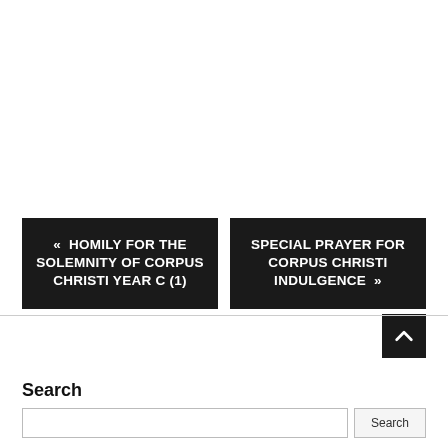« HOMILY FOR THE SOLEMNITY OF CORPUS CHRISTI YEAR C (1)
SPECIAL PRAYER FOR CORPUS CHRISTI INDULGENCE »
Search
Search